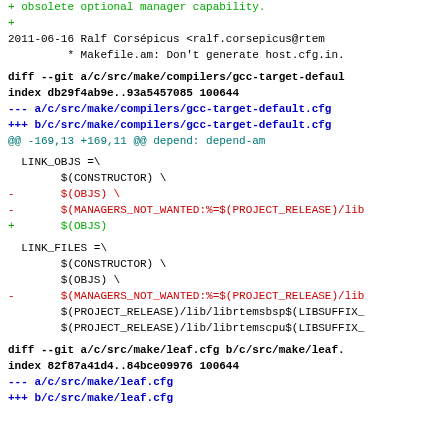+        obsolete optional manager capability.
+
2011-06-16      Ralf Corsépicus <ralf.corsepicus@rtem
* Makefile.am: Don't generate host.cfg.in.
diff --git a/c/src/make/compilers/gcc-target-defaul
index db29f4ab9e..93a5457085 100644
--- a/c/src/make/compilers/gcc-target-default.cfg
+++ b/c/src/make/compilers/gcc-target-default.cfg
@@ -169,13 +169,11 @@ depend: depend-am
LINK_OBJS =\
$(CONSTRUCTOR) \
-       $(OBJS) \
-       $(MANAGERS_NOT_WANTED:%=$(PROJECT_RELEASE)/lib
+       $(OBJS)
LINK_FILES =\
$(CONSTRUCTOR) \
$(OBJS) \
-       $(MANAGERS_NOT_WANTED:%=$(PROJECT_RELEASE)/lib
$(PROJECT_RELEASE)/lib/librtemsbsp$(LIBSUFFIX_
$(PROJECT_RELEASE)/lib/librtemscpu$(LIBSUFFIX_
diff --git a/c/src/make/leaf.cfg b/c/src/make/leaf.
index 82f87a41d4..84bce09976 100644
--- a/c/src/make/leaf.cfg
+++ b/c/src/make/leaf.cfg